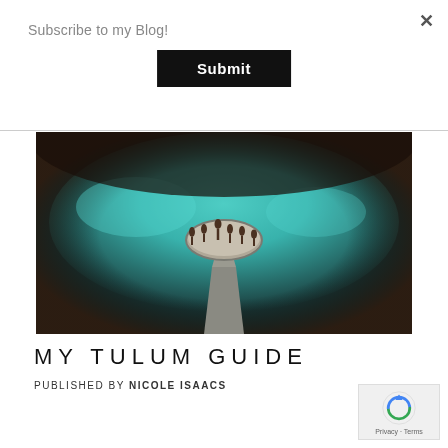Subscribe to my Blog!
Submit
[Figure (photo): Aerial view of a cenote with turquoise water, a stone walkway leading to a circular platform where several figures stand, surrounded by lush cave walls.]
MY TULUM GUIDE
PUBLISHED BY NICOLE ISAACS